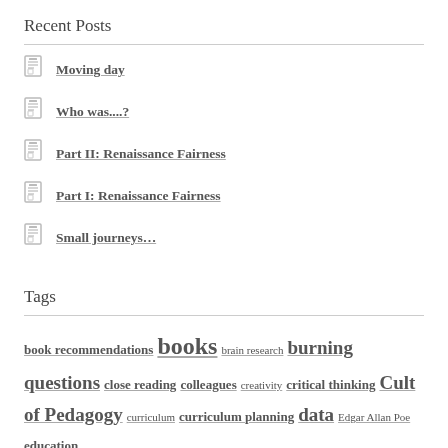Recent Posts
Moving day
Who was....?
Part II: Renaissance Fairness
Part I: Renaissance Fairness
Small journeys...
Tags
book recommendations books brain research burning questions close reading colleagues creativity critical thinking Cult of Pedagogy curriculum curriculum planning data Edgar Allan Poe education